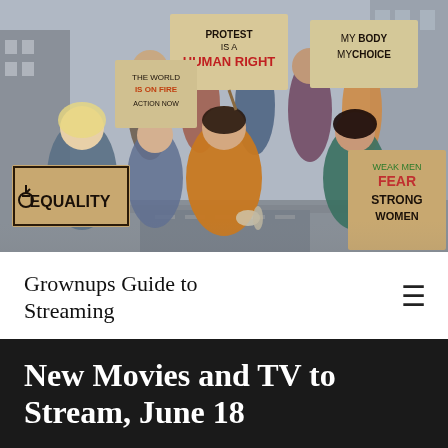[Figure (photo): Group of protesters sitting and standing on a city street holding cardboard signs reading 'EQUALITY' (with gender symbol), 'THE WORLD IS ON FIRE ACTION NOW', 'PROTEST IS A HUMAN RIGHT', 'MY BODY MY CHOICE', 'WEAK MEN FEAR STRONG WOMEN', and 'BLA BLA FRE [action now]'. Urban background with buildings.]
Grownups Guide to Streaming
New Movies and TV to Stream, June 18